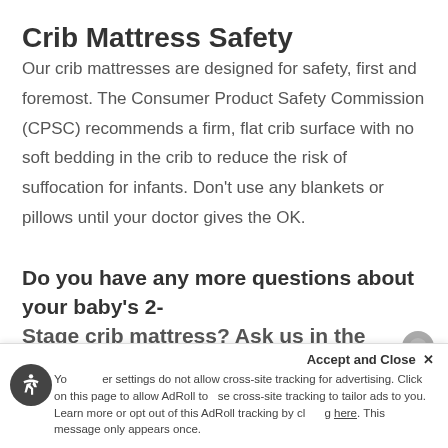Crib Mattress Safety
Our crib mattresses are designed for safety, first and foremost. The Consumer Product Safety Commission (CPSC) recommends a firm, flat crib surface with no soft bedding in the crib to reduce the risk of suffocation for infants. Don’t use any blankets or pillows until your doctor gives the OK.
Do you have any more questions about your baby’s 2-Stage crib mattress? Ask us in the comments or
Your browser settings do not allow cross-site tracking for advertising. Click on this page to allow AdRoll to use cross-site tracking to tailor ads to you. Learn more or opt out of this AdRoll tracking by clicking here. This message only appears once.